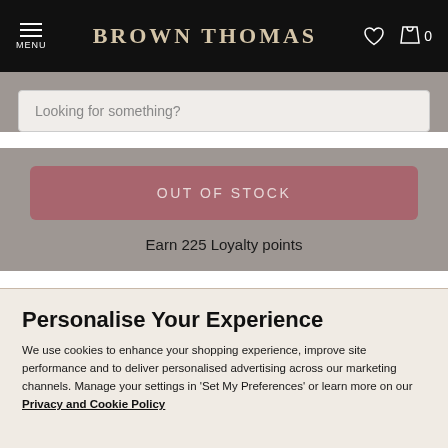MENU | BROWN THOMAS | ♡ 🛍 0
Looking for something?
OUT OF STOCK
Earn 225 Loyalty points
Personalise Your Experience
We use cookies to enhance your shopping experience, improve site performance and to deliver personalised advertising across our marketing channels. Manage your settings in 'Set My Preferences' or learn more on our Privacy and Cookie Policy